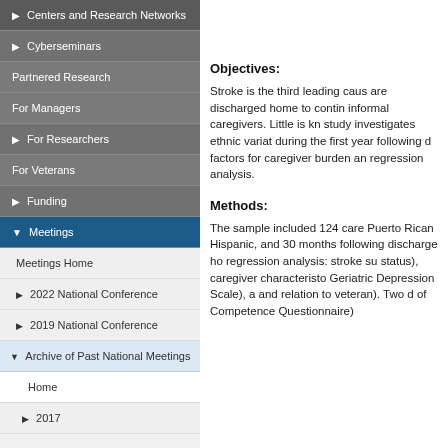Centers and Research Networks
Cyberseminars
Partnered Research
For Managers
For Researchers
For Veterans
Funding
Meetings
Meetings Home
2022 National Conference
2019 National Conference
Archive of Past National Meetings
Home
2017
Objectives:
Stroke is the third leading caus... are discharged home to contin... informal caregivers. Little is kn... study investigates ethnic variat... during the first year following d... factors for caregiver burden an... regression analysis.
Methods:
The sample included 124 care... Puerto Rican Hispanic, and 30... months following discharge ho... regression analysis: stroke su... status), caregiver characteristo... Geriatric Depression Scale), a... and relation to veteran). Two d... of Competence Questionnaire)...